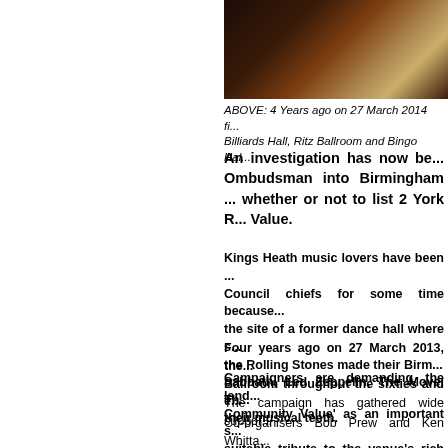[Figure (photo): A dark interior photo showing what appears to be a ballroom or hall with warm amber/golden lighting]
ABOVE: 4 Years ago on 27 March 2014 fi... Billiards Hall, Ritz Ballroom and Bingo Hal...
An investigation has now be... Ombudsman into Birmingham ... whether or not to list 2 York R... Value.
Kings Heath music lovers have been ... Council chiefs for some time because... the site of a former dance hall where s... the Rolling Stones made their Birm... Sabbath, Led Zeppelin, The Move, Th... their musical teeth.
Four years ago on 27 March 2013, the... Ballroom throughout the sixties and e...
Campaigners are demanding the land... Community Value' as an important s... suitable tribute to the venue's rich m... the site of a cinema and billiards ha... Irish couple Ma and Pa Regan into a b...
The campaign has gathered wide suppor...
Co-organisers Bob Prew and Ken Whitta... legal advice that the Localism Act requir... and concerned that the council believe...